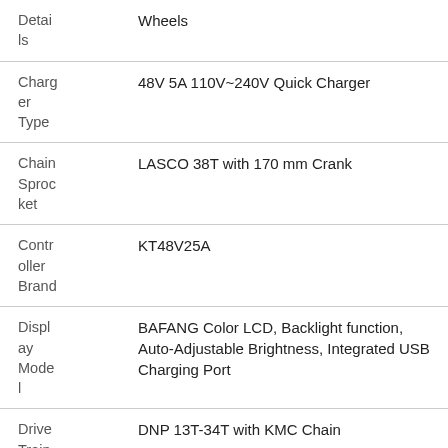| Attribute | Value |
| --- | --- |
| Details | Wheels |
| Charger Type | 48V 5A 110V~240V Quick Charger |
| Chain Sprocket | LASCO 38T with 170 mm Crank |
| Controller Brand | KT48V25A |
| Display Model | BAFANG Color LCD, Backlight function, Auto-Adjustable Brightness, Integrated USB Charging Port |
| Drive Train | DNP 13T-34T with KMC Chain |